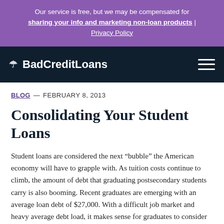Our service is free, but we may be compensated for sharing your info and marketing non-loan products | Privacy Policy
BadCreditLoans
BLOG — FEBRUARY 8, 2013
Consolidating Your Student Loans
Student loans are considered the next “bubble” the American economy will have to grapple with. As tuition costs continue to climb, the amount of debt that graduating postsecondary students carry is also booming. Recent graduates are emerging with an average loan debt of $27,000. With a difficult job market and heavy average debt load, it makes sense for graduates to consider student loan consolidation as an option. Consolidating student loans is not as simple as it